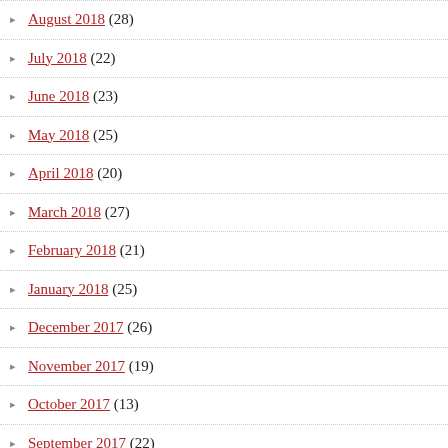August 2018 (28)
July 2018 (22)
June 2018 (23)
May 2018 (25)
April 2018 (20)
March 2018 (27)
February 2018 (21)
January 2018 (25)
December 2017 (26)
November 2017 (19)
October 2017 (13)
September 2017 (22)
August 2017 (25)